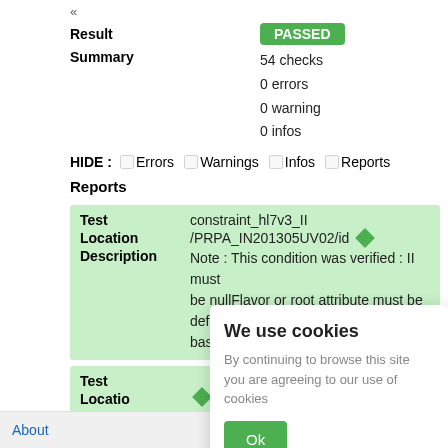«
| Field | Value |
| --- | --- |
| Result | PASSED |
| Summary | 54 checks
0 errors
0 warning
0 infos |
HIDE : □Errors □Warnings □Infos □Reports
Reports
| Field | Value |
| --- | --- |
| Test | constraint_hl7v3_II |
| Location | /PRPA_IN201305UV02/id ♦ |
| Description | Note : This condition was verified : II must be nullFlavor or root attribute must be defined (from the schema datatypes-base.xsd) |
| Field | Value |
| --- | --- |
| Test |  |
| Location |  |
| Description | must ... e |
[Figure (screenshot): Cookie consent overlay with title 'We use cookies', body text 'By continuing to browse this site you are agreeing to our use of cookies', and an 'Ok' button in green.]
About    Back to top  E ▾